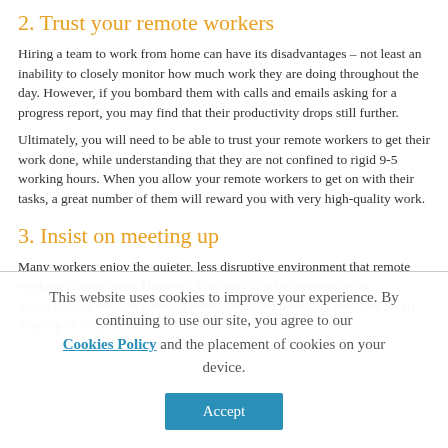2. Trust your remote workers
Hiring a team to work from home can have its disadvantages – not least an inability to closely monitor how much work they are doing throughout the day. However, if you bombard them with calls and emails asking for a progress report, you may find that their productivity drops still further.
Ultimately, you will need to be able to trust your remote workers to get their work done, while understanding that they are not confined to rigid 9-5 working hours. When you allow your remote workers to get on with their tasks, a great number of them will reward you with very high-quality work.
3. Insist on meeting up
Many workers enjoy the quieter, less disruptive environment that remote working affords them. However, they may also be surrounded by distractions if they are working from home, and their concentration levels may dip as a result.
This website uses cookies to improve your experience. By continuing to use our site, you agree to our Cookies Policy and the placement of cookies on your device.